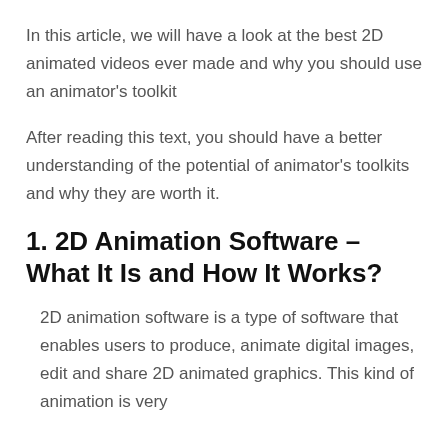In this article, we will have a look at the best 2D animated videos ever made and why you should use an animator's toolkit
After reading this text, you should have a better understanding of the potential of animator's toolkits and why they are worth it.
1. 2D Animation Software – What It Is and How It Works?
2D animation software is a type of software that enables users to produce, animate digital images, edit and share 2D animated graphics. This kind of animation is very